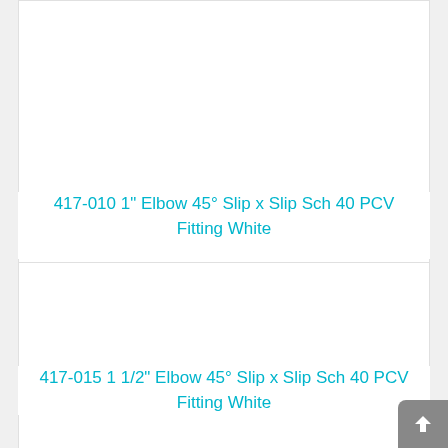417-010 1" Elbow 45° Slip x Slip Sch 40 PCV Fitting White
417-015 1 1/2" Elbow 45° Slip x Slip Sch 40 PCV Fitting White